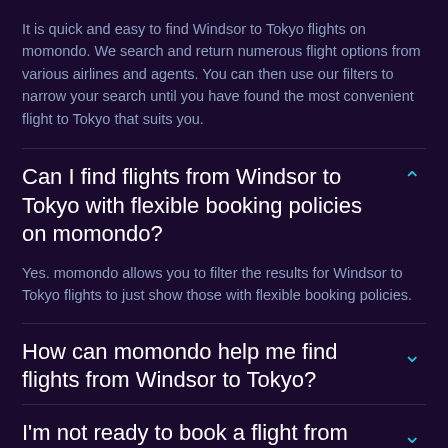It is quick and easy to find Windsor to Tokyo flights on momondo. We search and return numerous flight options from various airlines and agents. You can then use our filters to narrow your search until you have found the most convenient flight to Tokyo that suits you.
Can I find flights from Windsor to Tokyo with flexible booking policies on momondo?
Yes. momondo allows you to filter the results for Windsor to Tokyo flights to just show those with flexible booking policies.
How can momondo help me find flights from Windsor to Tokyo?
I'm not ready to book a flight from Windsor to Tokyo right now. Can momondo alert me if prices change?